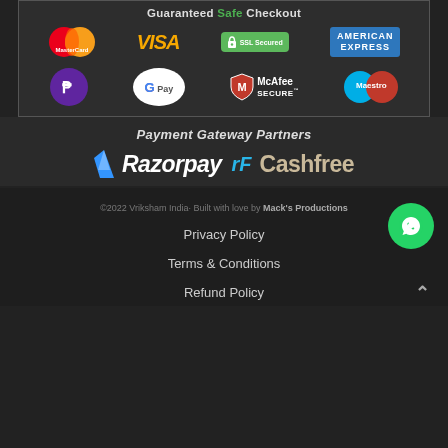[Figure (infographic): Guaranteed Safe Checkout section with payment logos: MasterCard, VISA, SSL Secured, American Express, PhonePe, GPay, McAfee SECURE, Maestro]
[Figure (logo): Payment Gateway Partners section showing Razorpay and Cashfree logos]
©2022 Vriksham India· Built with love by Mack's Productions
Privacy Policy
Terms & Conditions
Refund Policy